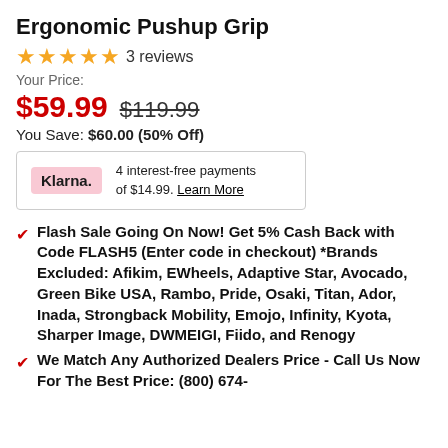Ergonomic Pushup Grip
★★★★★ 3 reviews
Your Price:
$59.99  $119.99
You Save: $60.00 (50% Off)
Klarna. 4 interest-free payments of $14.99. Learn More
Flash Sale Going On Now! Get 5% Cash Back with Code FLASH5 (Enter code in checkout) *Brands Excluded: Afikim, EWheels, Adaptive Star, Avocado, Green Bike USA, Rambo, Pride, Osaki, Titan, Ador, Inada, Strongback Mobility, Emojo, Infinity, Kyota, Sharper Image, DWMEIGI, Fiido, and Renogy
We Match Any Authorized Dealers Price - Call Us Now For The Best Price: (800) 674-